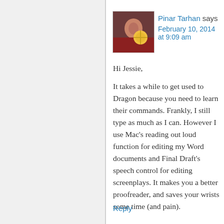[Figure (photo): Avatar photo of Pinar Tarhan — a woman with a citrus fruit, dark background]
Pinar Tarhan says
February 10, 2014 at 9:09 am
Hi Jessie,
It takes a while to get used to Dragon because you need to learn their commands. Frankly, I still type as much as I can. However I use Mac's reading out loud function for editing my Word documents and Final Draft's speech control for editing screenplays. It makes you a better proofreader, and saves your wrists some time (and pain).
Reply